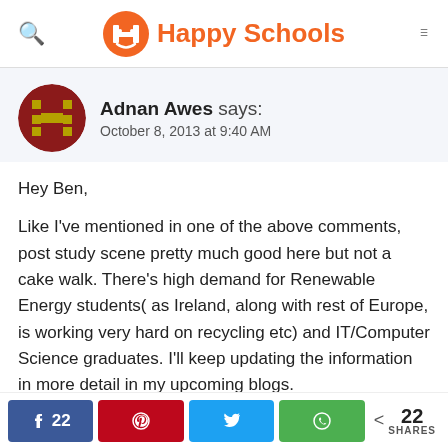Happy Schools
[Figure (logo): Happy Schools logo with orange smiley/hands icon and orange text]
Adnan Awes says:
October 8, 2013 at 9:40 AM
Hey Ben,

Like I've mentioned in one of the above comments, post study scene pretty much good here but not a cake walk. There's high demand for Renewable Energy students( as Ireland, along with rest of Europe, is working very hard on recycling etc) and IT/Computer Science graduates. I'll keep updating the information in more detail in my upcoming blogs.
f 22 | Pinterest | Twitter | WhatsApp | < 22 SHARES